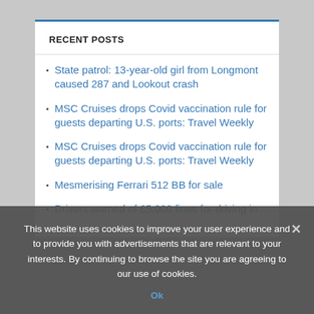RECENT POSTS
State patrol: 13-year-old girl from Longmont caused 287 and Lookout crash
MSC Cruises drops Covid vaccination rule for guests departing U.S. ports: Travel Weekly
MSC Cruises drops Covid vaccination rule for guests departing U.S. ports: Travel Weekly
Mesmerising Ferrari 512 BB for sale
Drivers warned of £5,000 fines for driving in
This website uses cookies to improve your user experience and to provide you with advertisements that are relevant to your interests. By continuing to browse the site you are agreeing to our use of cookies.
Ok